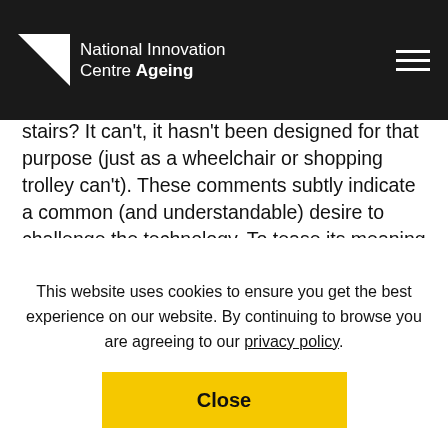National Innovation Centre Ageing
stairs? It can't, it hasn't been designed for that purpose (just as a wheelchair or shopping trolley can't). These comments subtly indicate a common (and understandable) desire to challenge the technology. To tease its meaning and to show how non-intelligent and useless it is compared to other
This website uses cookies to ensure you get the best experience on our website. By continuing to browse you are agreeing to our privacy policy.
Close